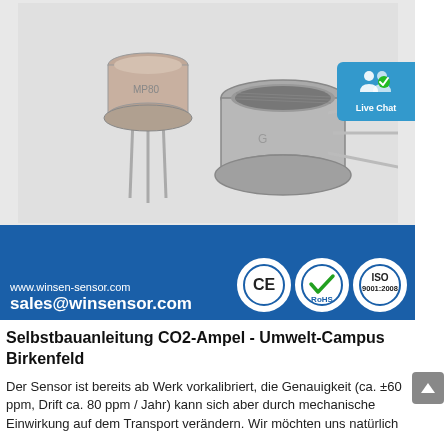[Figure (photo): Advertisement banner for Winsen Sensor (www.winsen-sensor.com / sales@winsensor.com). Shows two metal gas sensors (MQ-series style, cylindrical with pins) on a white background. Blue banner at bottom with CE, RoHS, and ISO 9001:2008 certification logos. A Live Chat button appears in the upper right corner.]
Selbstbauanleitung CO2-Ampel - Umwelt-Campus Birkenfeld
Der Sensor ist bereits ab Werk vorkalibriert, die Genauigkeit (ca. ±60 ppm, Drift ca. 80 ppm / Jahr) kann sich aber durch mechanische Einwirkung auf dem Transport verändern. Wir möchten uns natürlich